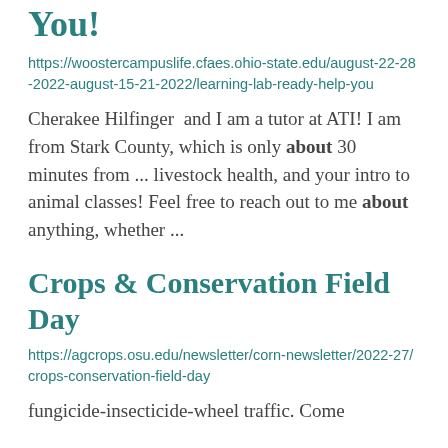You!
https://woostercampuslife.cfaes.ohio-state.edu/august-22-28-2022-august-15-21-2022/learning-lab-ready-help-you
Cherakee Hilfinger  and I am a tutor at ATI! I am from Stark County, which is only about 30 minutes from ... livestock health, and your intro to animal classes! Feel free to reach out to me about anything, whether ...
Crops & Conservation Field Day
https://agcrops.osu.edu/newsletter/corn-newsletter/2022-27/crops-conservation-field-day
fungicide-insecticide-wheel traffic. Come